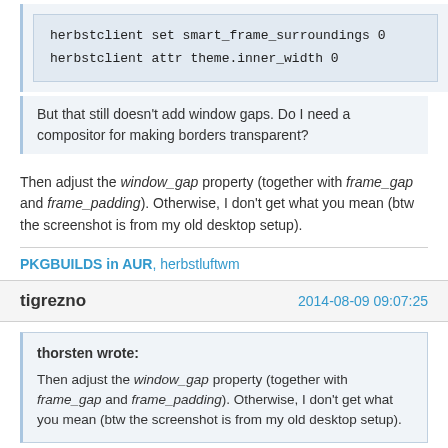herbstclient set smart_frame_surroundings 0
herbstclient attr theme.inner_width 0
But that still doesn't add window gaps. Do I need a compositor for making borders transparent?
Then adjust the window_gap property (together with frame_gap and frame_padding). Otherwise, I don't get what you mean (btw the screenshot is from my old desktop setup).
PKGBUILDS in AUR, herbstluftwm
tigrezno   2014-08-09 09:07:25
thorsten wrote:
Then adjust the window_gap property (together with frame_gap and frame_padding). Otherwise, I don't get what you mean (btw the screenshot is from my old desktop setup).
Thank you!, the problem was frame_gap/padding combination. Now I